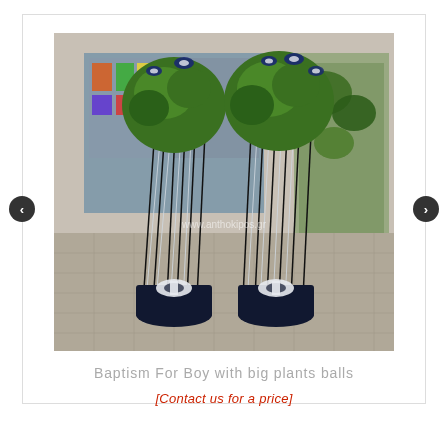[Figure (photo): Two tall decorative plant arrangements with large green ball-shaped topiary trees on thin black metal stands, wrapped at the base with dark blue/black and white fabric bows, with silver ribbons hanging down. Photographed outdoors in front of a flower shop. Watermark reads www.anthokipos.gr]
Baptism For Boy with big plants balls
[Contact us for a price]